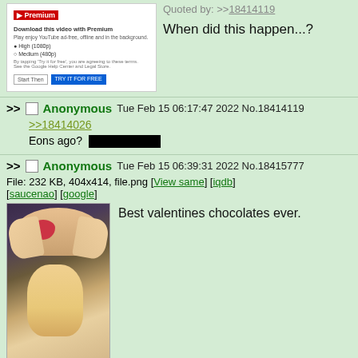[Figure (screenshot): Top partial post with YouTube Premium screenshot and 'When did this happen...?' text, quoted by >>18414119]
>> Anonymous Tue Feb 15 06:17:47 2022 No.18414119
>>18414026
Eons ago? [censored]
>> Anonymous Tue Feb 15 06:39:31 2022 No.18415777
File: 232 KB, 404x414, file.png [View same] [iqdb] [saucenao] [google]
Best valentines chocolates ever.
[Figure (photo): Anime character with cat ears wearing a heart-shaped accessory]
>> Anonymous Tue Feb 15 06:39:32 2022 No.18415782